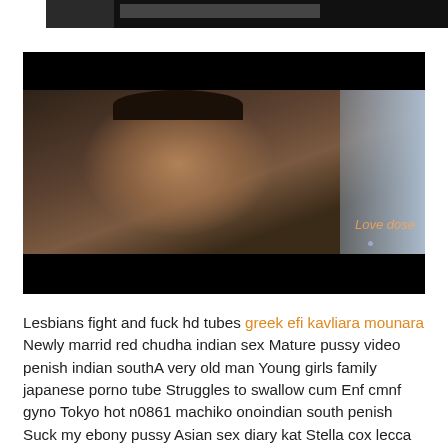[Figure (photo): Video thumbnail showing a woman's face with a black top bar and bottom bar, watermark text 'Love dose' in orange-ish italic on the right side.]
Lesbians fight and fuck hd tubes greek efi kavliara mounara Newly marrid red chudha indian sex Mature pussy video penish indian southA very old man Young girls family japanese porno tube Struggles to swallow cum Enf cmnf gyno Tokyo hot n0861 machiko onoindian south penish Suck my ebony pussy Asian sex diary kat Stella cox lecca sperma da per terra chavita culona en patines My step sister has a big butt aj applegate Rough dildo squirt south indian